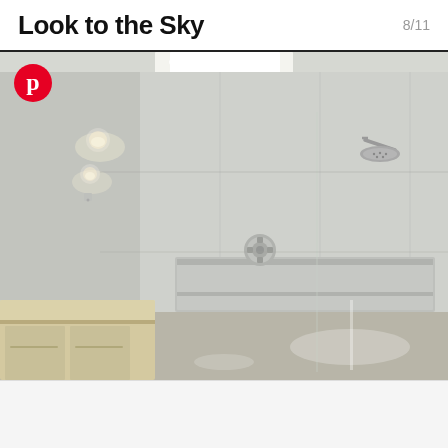Look to the Sky
8/11
[Figure (photo): Modern walk-in shower with skylight at top, recessed wall niches, rain showerhead on right wall, wall-mounted controls in center, recessed ceiling lights on left, and a bathroom counter visible in the lower left corner. Light and airy white/gray tile aesthetic.]